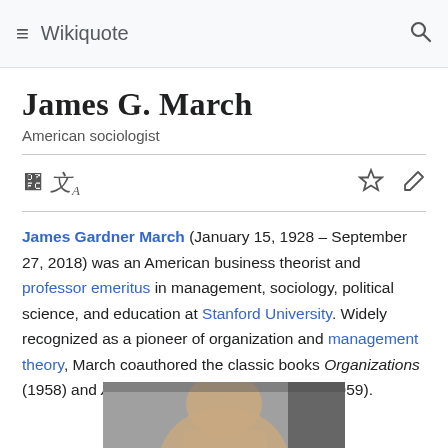Wikiquote
James G. March
American sociologist
James Gardner March (January 15, 1928 – September 27, 2018) was an American business theorist and professor emeritus in management, sociology, political science, and education at Stanford University. Widely recognized as a pioneer of organization and management theory, March coauthored the classic books Organizations (1958) and A Behavioral Theory of the Firm (1959).
[Figure (photo): Photograph of James G. March, partially visible at bottom of page]